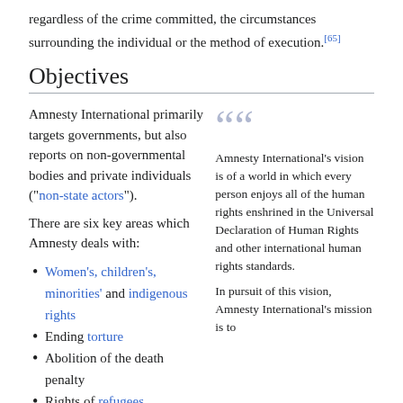regardless of the crime committed, the circumstances surrounding the individual or the method of execution.[65]
Objectives
Amnesty International primarily targets governments, but also reports on non-governmental bodies and private individuals ("non-state actors").
There are six key areas which Amnesty deals with:
Women's, children's, minorities' and indigenous rights
Ending torture
Abolition of the death penalty
Rights of refugees
Rights of prisoners of conscience
Protection of human dignity.
Amnesty International's vision is of a world in which every person enjoys all of the human rights enshrined in the Universal Declaration of Human Rights and other international human rights standards.
In pursuit of this vision, Amnesty International's mission is to
Some specific aims are: to abolish